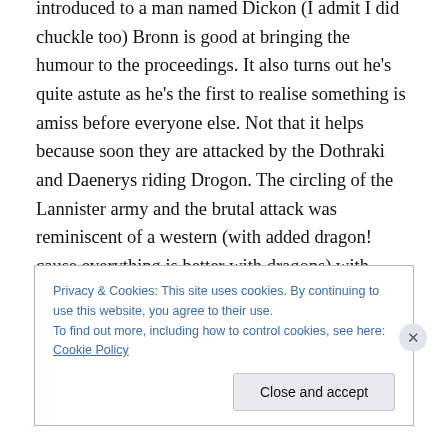introduced to a man named Dickon (I admit I did chuckle too) Bronn is good at bringing the humour to the proceedings. It also turns out he's quite astute as he's the first to realise something is amiss before everyone else. Not that it helps because soon they are attacked by the Dothraki and Daenerys riding Drogon. The circling of the Lannister army and the brutal attack was reminiscent of a western (with added dragon! cause everything is better with dragons) with Indians circling the cowboys. The battle is epic in scale with men on fire and the Dothraki slaying all those around them, even the horses in one particularly
Privacy & Cookies: This site uses cookies. By continuing to use this website, you agree to their use.
To find out more, including how to control cookies, see here: Cookie Policy